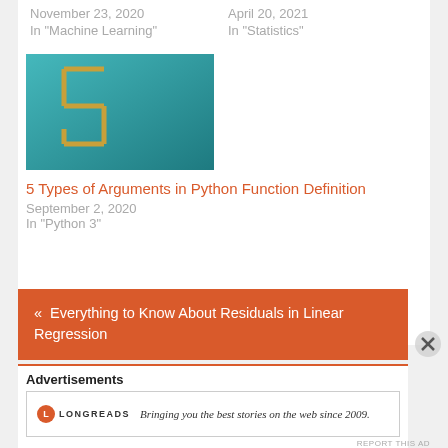November 23, 2020
In "Machine Learning"
April 20, 2021
In "Statistics"
[Figure (photo): Teal/turquoise background with a large stylized number 5 in gold/yellow outlined block letter style]
5 Types of Arguments in Python Function Definition
September 2, 2020
In "Python 3"
« Everything to Know About Residuals in Linear Regression
Advertisements
Bringing you the best stories on the web since 2009.